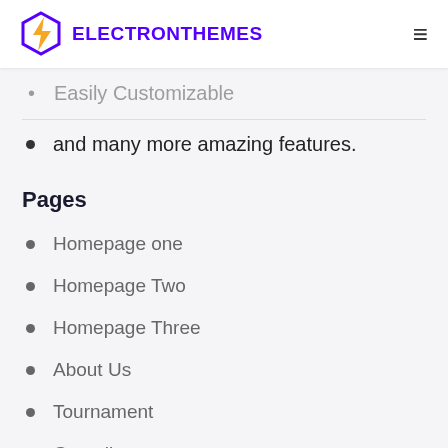ELECTRONTHEMES
Easily Customizable
and many more amazing features.
Pages
Homepage one
Homepage Two
Homepage Three
About Us
Tournament
Gamelist
Single Team